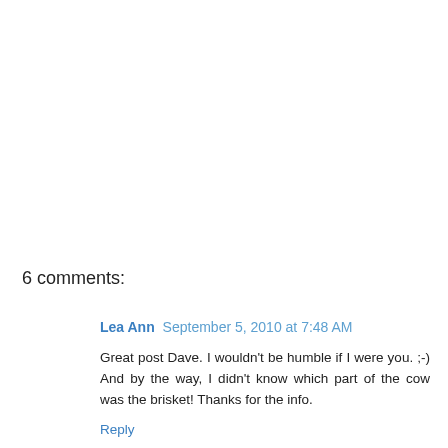6 comments:
Lea Ann  September 5, 2010 at 7:48 AM
Great post Dave. I wouldn't be humble if I were you. ;-) And by the way, I didn't know which part of the cow was the brisket! Thanks for the info.
Reply